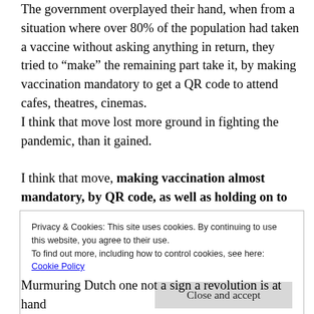The government overplayed their hand, when from a situation where over 80% of the population had taken a vaccine without asking anything in return, they tried to “make” the remaining part take it, by making vaccination mandatory to get a QR code to attend cafes, theatres, cinemas.
I think that move lost more ground in fighting the pandemic, than it gained.

I think that move, making vaccination almost mandatory, by QR code, as well as holding on to that measure even when the pandemic situations are
Privacy & Cookies: This site uses cookies. By continuing to use this website, you agree to their use.
To find out more, including how to control cookies, see here:
Cookie Policy

Close and accept
Murmuring Dutch one not a sign a revolution is at hand